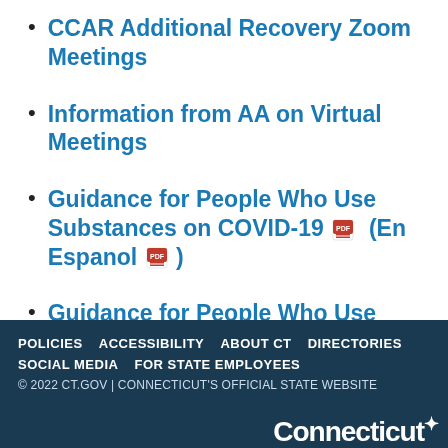CCAR Additional Recovery Zoom Meetings
Information from AA on Virtual Meetings
Guidance for People Who Use Substances on COVID-19 [PDF] (En Espanol [PDF])
Guidance for People Who Use Substances on COVID-19 (Novel Coronavirus)
POLICIES | ACCESSIBILITY | ABOUT CT | DIRECTORIES | SOCIAL MEDIA | FOR STATE EMPLOYEES
© 2022 CT.GOV | CONNECTICUT'S OFFICIAL STATE WEBSITE